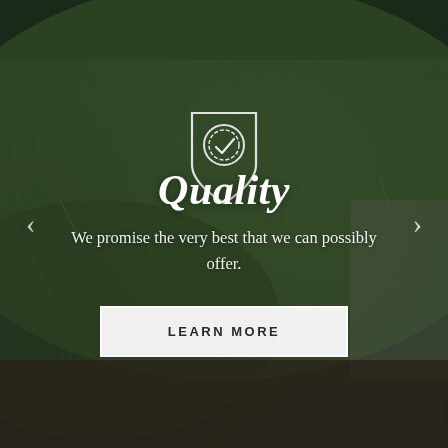[Figure (photo): Dark outdoor/nature background photo showing hikers or people with backpacks walking on a rocky hillside with green grass, overlaid with a dark semi-transparent filter. White quality badge icon (shield with medal/checkmark) centered in upper portion.]
Quality
We promise the very best that we can possibly offer.
LEARN MORE